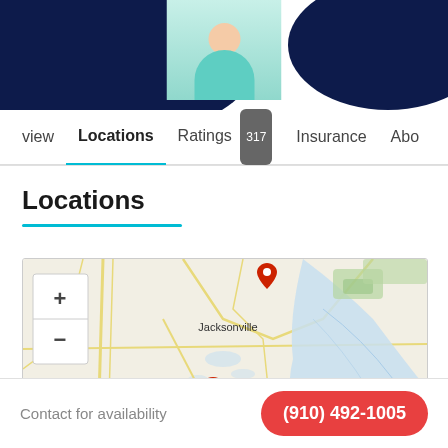[Figure (photo): Top of a healthcare provider profile page showing a photo of a person in a teal/mint colored shirt against a dark navy circular background]
view | Locations | Ratings 317 | Insurance | Abo
Locations
[Figure (map): Leaflet/OpenStreetMap showing Jacksonville area in North Carolina with two red map markers — one near the top center (Jacksonville label) and one numbered '1' in the lower center area]
Contact for availability
(910) 492-1005